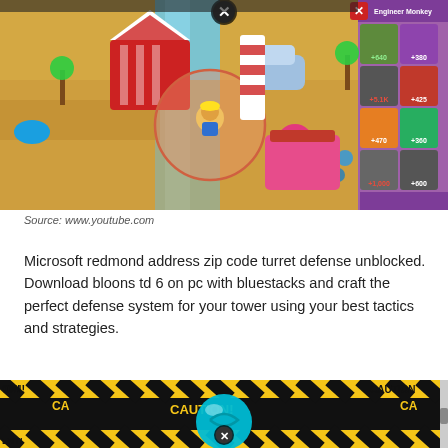[Figure (screenshot): Screenshot of Bloons TD 6 game showing a carnival/beach map with towers placed, a selection circle around an Engineer Monkey tower, and the tower upgrade panel on the right side showing various monkey options with prices like $640, $380, $425, $470, $360, $600, $380.]
Source: www.youtube.com
Microsoft redmond address zip code turret defense unblocked. Download bloons td 6 on pc with bluestacks and craft the perfect defense system for your tower using your best tactics and strategies.
[Figure (screenshot): Screenshot of another Bloons TD game scene showing a large blue bloon/balloon character with caution tape pattern in background and a close button (X).]